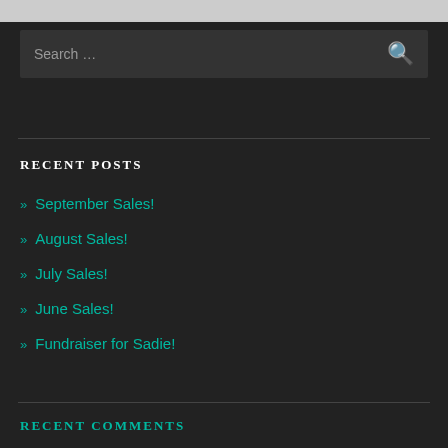[Figure (screenshot): Search input box with placeholder text 'Search ...' and a search icon on the right, dark background]
RECENT POSTS
» September Sales!
» August Sales!
» July Sales!
» June Sales!
» Fundraiser for Sadie!
RECENT COMMENTS